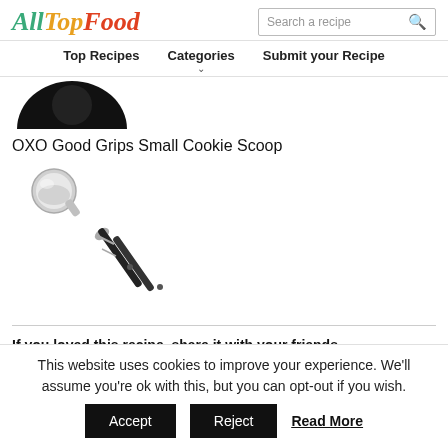AllTopFood — Top Recipes | Categories | Submit your Recipe
[Figure (photo): Partial image of a black round kitchen item, cropped at top]
OXO Good Grips Small Cookie Scoop
[Figure (photo): OXO Good Grips Small Cookie Scoop — silver scoop with black handle]
If you loved this recipe, share it with your friends.
This website uses cookies to improve your experience. We'll assume you're ok with this, but you can opt-out if you wish.